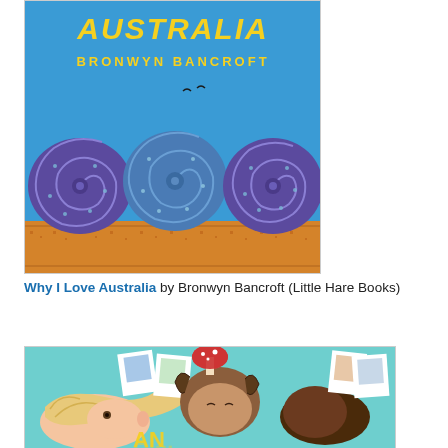[Figure (illustration): Book cover of 'Why I Love Australia' by Bronwyn Bancroft showing bold yellow title text at top, author name, blue sky with two birds, and large decorative spiral shell/snail motifs in purple and blue at the bottom on an orange patterned strip]
Why I Love Australia by Bronwyn Bancroft (Little Hare Books)
[Figure (illustration): Book cover showing illustrated children with braided hair lying down looking up, polaroid photos around them, mushroom/toadstool, teal background, partial text 'An Al...' visible at bottom]